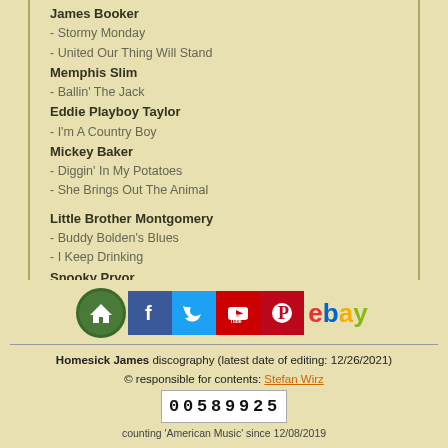James Booker
- Stormy Monday
- United Our Thing Will Stand
Memphis Slim
- Ballin' The Jack
Eddie Playboy Taylor
- I'm A Country Boy
Mickey Baker
- Diggin' In My Potatoes
- She Brings Out The Animal
Little Brother Montgomery
- Buddy Bolden's Blues
- I Keep Drinking
Snooky Pryor
- Baby Left Me A Mule To Ride
Sonny Terry & Brownie Mcghee
- Rockin' And Whoopin'
- Talking Harmonica Blues
Homesick James & Snooky Pryor
- Homesick Blues Again
[Figure (infographic): Social media icons row: home, Facebook, Twitter, YouTube, Pinterest, eBay]
Homesick James discography (latest date of editing: 12/26/2021)
© responsible for contents: Stefan Wirz
00589925
counting 'American Music' since 12/08/2019